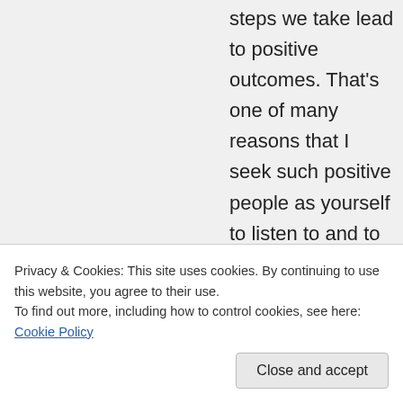steps we take lead to positive outcomes. That's one of many reasons that I seek such positive people as yourself to listen to and to follow your advice. I can honestly say that there have been a multitude of positive changes in my own life following the positive thinking. Reggie you are a great sorce of inspiration not only for me but for many others too!! Thanks so
12:41 am
Privacy & Cookies: This site uses cookies. By continuing to use this website, you agree to their use.
To find out more, including how to control cookies, see here: Cookie Policy